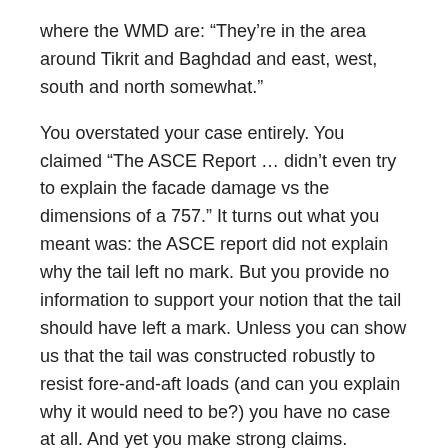where the WMD are: “They’re in the area around Tikrit and Baghdad and east, west, south and north somewhat.”
You overstated your case entirely. You claimed “The ASCE Report … didn’t even try to explain the facade damage vs the dimensions of a 757.” It turns out what you meant was: the ASCE report did not explain why the tail left no mark. But you provide no information to support your notion that the tail should have left a mark. Unless you can show us that the tail was constructed robustly to resist fore-and-aft loads (and can you explain why it would need to be?) you have no case at all. And yet you make strong claims.
You make silly claims about laws of